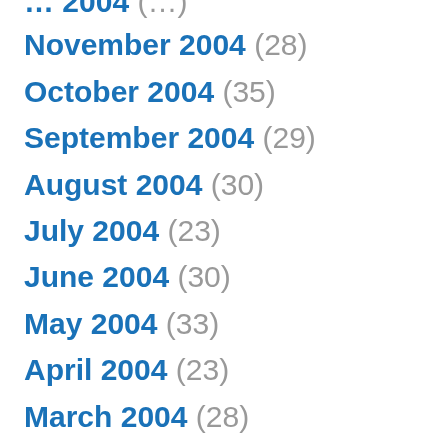November 2004 (28)
October 2004 (35)
September 2004 (29)
August 2004 (30)
July 2004 (23)
June 2004 (30)
May 2004 (33)
April 2004 (23)
March 2004 (28)
February 2004 (21)
January 2004 (31)